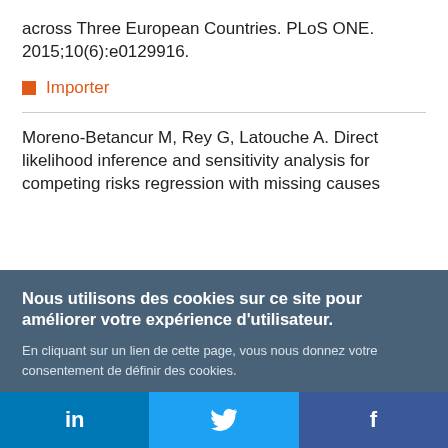across Three European Countries. PLoS ONE. 2015;10(6):e0129916.
Importer
Moreno-Betancur M, Rey G, Latouche A. Direct likelihood inference and sensitivity analysis for competing risks regression with missing causes
Nous utilisons des cookies sur ce site pour améliorer votre expérience d'utilisateur.
En cliquant sur un lien de cette page, vous nous donnez votre consentement de définir des cookies.